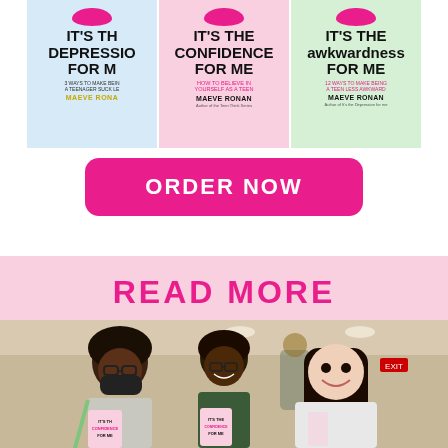[Figure (illustration): Three book covers side by side: 'It's the Depression for Me' on blue background, 'It's the Confidence for Me' on pink background, 'It's the Awkwardness for Me' on green background, all by Maeve Ronan]
ORDER NOW
READ MORE
[Figure (photo): Three young women standing together smiling, holding copies of 'It's the Confidence for Me' book, in what appears to be a conference or event room]